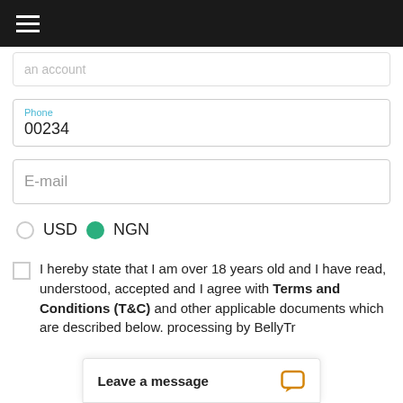Navigation menu (hamburger icon)
Phone
00234
E-mail
USD  NGN
I hereby state that I am over 18 years old and I have read, understood, accepted and I agree with Terms and Conditions (T&C) and other applicable documents which are described below. processing by BellyTr...
Leave a message